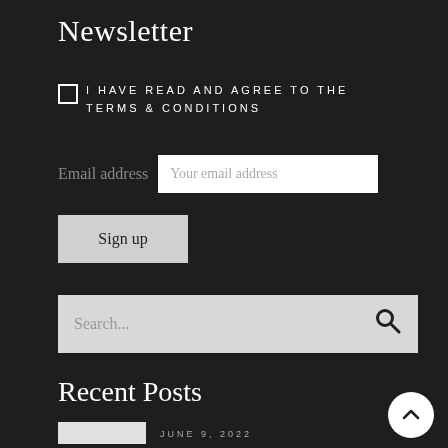Newsletter
I HAVE READ AND AGREE TO THE TERMS & CONDITIONS
Email address   Your email address
Sign up
Search...
Recent Posts
JUNE 9, 2022